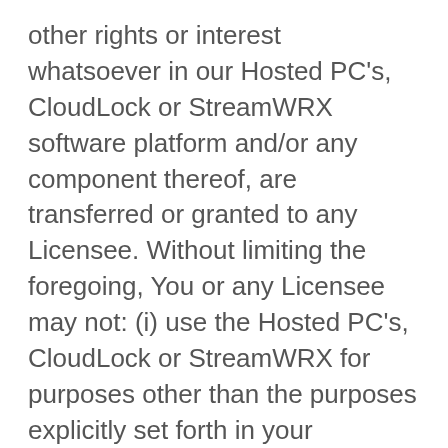other rights or interest whatsoever in our Hosted PC's, CloudLock or StreamWRX software platform and/or any component thereof, are transferred or granted to any Licensee. Without limiting the foregoing, You or any Licensee may not: (i) use the Hosted PC's, CloudLock or StreamWRX for purposes other than the purposes explicitly set forth in your Subscription Agreement; (ii) reverse engineer or de-compile, modify or revise any aspect of our Hosted PC's, CloudLock or StreamWRX, or creat[e any derivative works] thereof; (iii) sub-license or resale our
[Figure (other): Calendly scheduling button overlay reading 'Schedule time with me powered by Calendly' in white text on a cyan/blue rounded pill-shaped button]